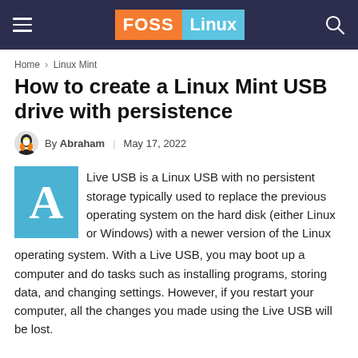FOSS Linux
Home › Linux Mint
How to create a Linux Mint USB drive with persistence
By Abraham | May 17, 2022
Live USB is a Linux USB with no persistent storage typically used to replace the previous operating system on the hard disk (either Linux or Windows) with a newer version of the Linux operating system. With a Live USB, you may boot up a computer and do tasks such as installing programs, storing data, and changing settings. However, if you restart your computer, all the changes you made using the Live USB will be lost.